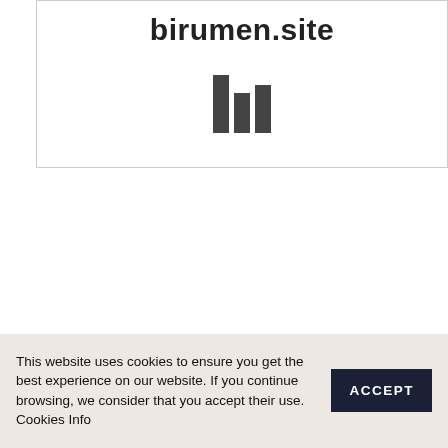birumen.site
[Figure (other): Three vertical bars icon (loading or bar chart icon) in dark gray]
This website uses cookies to ensure you get the best experience on our website. If you continue browsing, we consider that you accept their use. Cookies Info